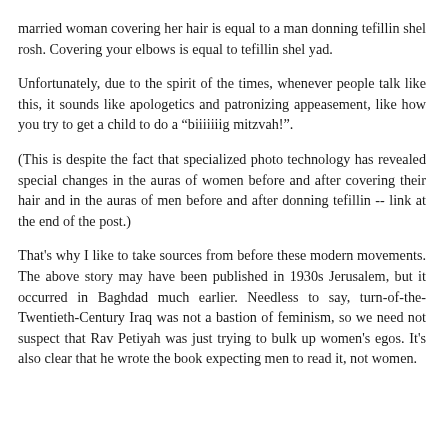married woman covering her hair is equal to a man donning tefillin shel rosh. Covering your elbows is equal to tefillin shel yad.
Unfortunately, due to the spirit of the times, whenever people talk like this, it sounds like apologetics and patronizing appeasement, like how you try to get a child to do a "biiiiiiig mitzvah!".
(This is despite the fact that specialized photo technology has revealed special changes in the auras of women before and after covering their hair and in the auras of men before and after donning tefillin -- link at the end of the post.)
That's why I like to take sources from before these modern movements. The above story may have been published in 1930s Jerusalem, but it occurred in Baghdad much earlier. Needless to say, turn-of-the-Twentieth-Century Iraq was not a bastion of feminism, so we need not suspect that Rav Petiyah was just trying to bulk up women's egos. It's also clear that he wrote the book expecting men to read it, not women.